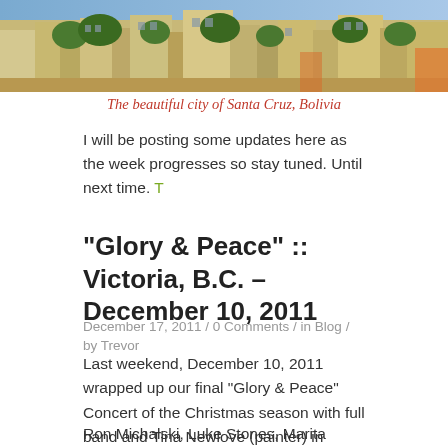[Figure (photo): Aerial/elevated view of the city of Santa Cruz, Bolivia showing urban buildings, trees, and rooftops]
The beautiful city of Santa Cruz, Bolivia
I will be posting some updates here as the week progresses so stay tuned. Until next time. T
“Glory & Peace” :: Victoria, B.C. – December 10, 2011
December 17, 2011 / 0 Comments / in Blog / by Trevor
Last weekend, December 10, 2011 wrapped up our final “Glory & Peace” Concert of the Christmas season with full band and Tina Newlove (painter) in beautiful Victoria, B.C.  It was a fantastic evening!
Ron Michalski, Luke Stones, Marita Salokari and their team did a wonderful job hosting us all at Glad Tidings Church. It sure was great to be back on “home soil” with many of my family